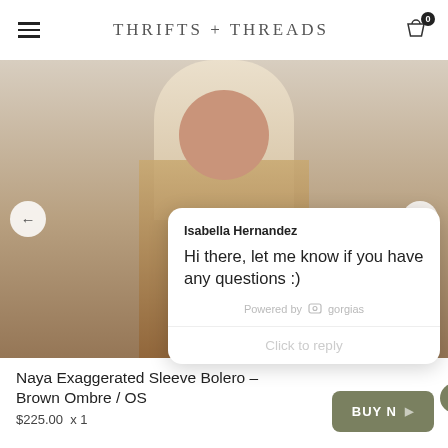THRIFTS + THREADS
[Figure (photo): Woman wearing a cream/white fringe bolero jacket with brown ombre fringe details, photographed from chest up against a neutral background]
Isabella Hernandez
Hi there, let me know if you have any questions :)
Powered by gorgias
Click to reply
Naya Exaggerated Sleeve Bolero – Brown Ombre / OS
$225.00  x 1
BUY NOW